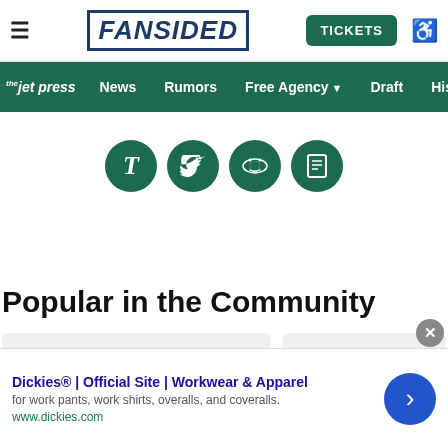FanSided — Navigation bar with TICKETS button
thejetpress | News | Rumors | Free Agency | Draft | Hist
[Figure (other): Social media share buttons: Facebook (T), Twitter, Reddit, and another icon — all in dark green circles]
Popular in the Community
[Figure (other): Two light gray card placeholder boxes side by side]
Dickies® | Official Site | Workwear & Apparel
for work pants, work shirts, overalls, and coveralls.
www.dickies.com